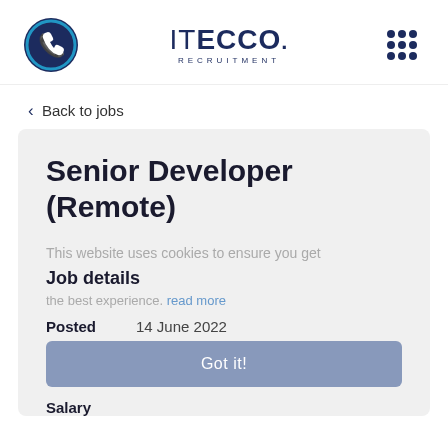[Figure (logo): ITECCO Recruitment logo with phone icon and grid icon in header]
< Back to jobs
Senior Developer (Remote)
This website uses cookies to ensure you get the best experience. read more
Job details
Posted   14 June 2022
Got it!
Salary